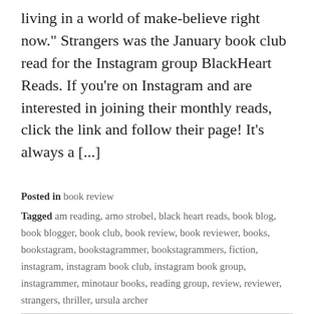living in a world of make-believe right now." Strangers was the January book club read for the Instagram group BlackHeart Reads. If you're on Instagram and are interested in joining their monthly reads, click the link and follow their page! It's always a [...]
Posted in book review
Tagged am reading, arno strobel, black heart reads, book blog, book blogger, book club, book review, book reviewer, books, bookstagram, bookstagrammer, bookstagrammers, fiction, instagram, instagram book club, instagram book group, instagrammer, minotaur books, reading group, review, reviewer, strangers, thriller, ursula archer